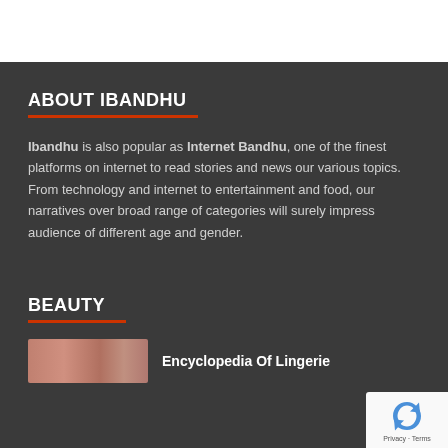ABOUT IBANDHU
Ibandhu is also popular as Internet Bandhu, one of the finest platforms on internet to read stories and news our various topics. From technology and internet to entertainment and food, our narratives over broad range of categories will surely impress audience of different age and gender.
BEAUTY
[Figure (photo): Thumbnail image of women for beauty article]
Encyclopedia Of Lingerie